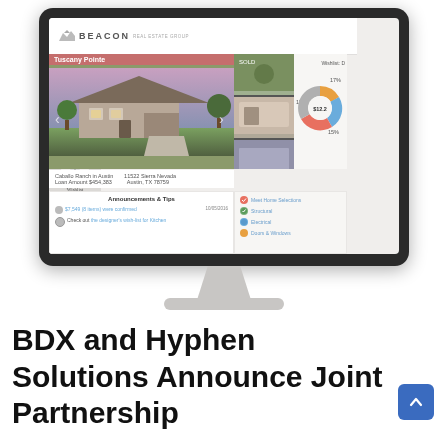[Figure (screenshot): Screenshot of a real estate web application (Beacon) shown inside a computer monitor illustration. The screen shows a property listing for 'Tuscany Pointe' at Caballo Ranch in Austin, a donut chart for Wishlist, an Announcements & Tips panel, and a sidebar with navigation icons.]
BDX and Hyphen Solutions Announce Joint Partnership